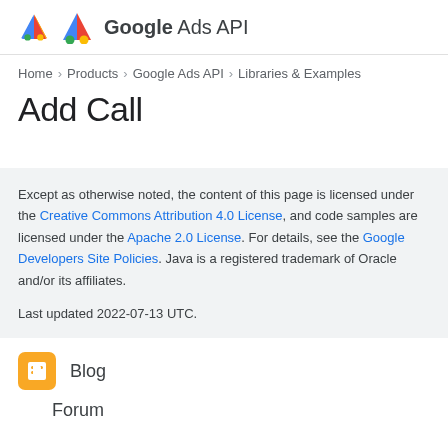Google Ads API
Home > Products > Google Ads API > Libraries & Examples
Add Call
Except as otherwise noted, the content of this page is licensed under the Creative Commons Attribution 4.0 License, and code samples are licensed under the Apache 2.0 License. For details, see the Google Developers Site Policies. Java is a registered trademark of Oracle and/or its affiliates.

Last updated 2022-07-13 UTC.
Blog
Forum